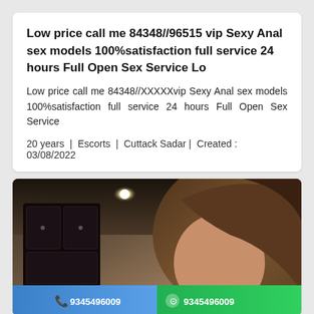Low price call me 84348//96515 vip Sexy Anal sex models 100%satisfaction full service 24 hours Full Open Sex Service Lo
Low price call me 84348//XXXXXvip Sexy Anal sex models 100%satisfaction full service 24 hours Full Open Sex Service
20 years  |  Escorts  |  Cuttack Sadar |  Created : 03/08/2022
[Figure (photo): Photo of a woman with brown hair in an indoor setting with dark cabinet and ceiling lights. Two call buttons at bottom: blue phone button and green WhatsApp button, both showing number 9345496009.]